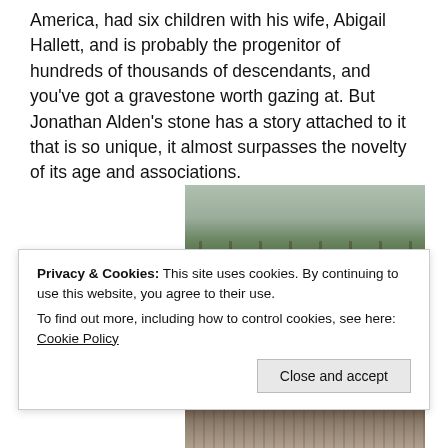America, had six children with his wife, Abigail Hallett, and is probably the progenitor of hundreds of thousands of descendants, and you've got a gravestone worth gazing at. But Jonathan Alden's stone has a story attached to it that is so unique, it almost surpasses the novelty of its age and associations.
[Figure (photo): Outdoor cemetery or memorial area showing tall pine trees in the background, a stone wall or monument with a cannon ball on top, and a chain. Sandy/earthy ground visible. Overcast sky.]
Privacy & Cookies: This site uses cookies. By continuing to use this website, you agree to their use.
To find out more, including how to control cookies, see here: Cookie Policy
Close and accept